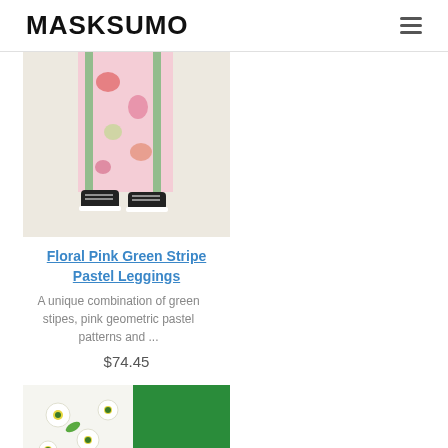MASKSUMO
[Figure (photo): Floral pink green stripe pastel leggings product photo showing legs with colorful floral and green stripe pattern leggings and black sneakers]
Floral Pink Green Stripe Pastel Leggings
A unique combination of green stipes, pink geometric pastel patterns and ...
$74.45
[Figure (photo): Second product photo showing green and white floral pattern leggings or clothing item]